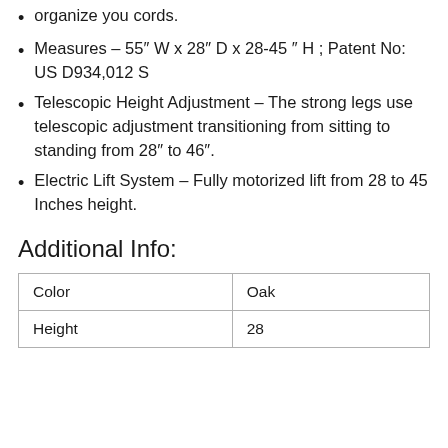organize you cords.
Measures – 55″ W x 28″ D x 28-45 " H ; Patent No: US D934,012 S
Telescopic Height Adjustment – The strong legs use telescopic adjustment transitioning from sitting to standing from 28″ to 46″.
Electric Lift System – Fully motorized lift from 28 to 45 Inches height.
Additional Info:
| Color | Oak |
| Height | 28 |